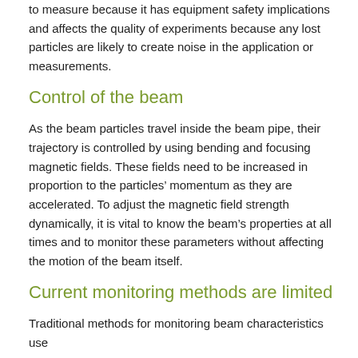to measure because it has equipment safety implications and affects the quality of experiments because any lost particles are likely to create noise in the application or measurements.
Control of the beam
As the beam particles travel inside the beam pipe, their trajectory is controlled by using bending and focusing magnetic fields. These fields need to be increased in proportion to the particles' momentum as they are accelerated. To adjust the magnetic field strength dynamically, it is vital to know the beam's properties at all times and to monitor these parameters without affecting the motion of the beam itself.
Current monitoring methods are limited
Traditional methods for monitoring beam characteristics use